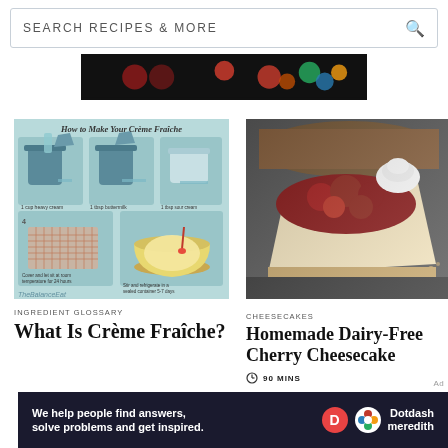[Figure (screenshot): Search bar with text SEARCH RECIPES & MORE and magnifying glass icon]
[Figure (photo): Dark banner advertisement strip with colorful circles]
[Figure (illustration): How to Make Your Crème Fraîche step-by-step illustration on teal background]
INGREDIENT GLOSSARY
What Is Crème Fraîche?
[Figure (photo): Close-up photo of a slice of cherry cheesecake with whipped cream on dark slate]
CHEESECAKES
Homemade Dairy-Free Cherry Cheesecake
90 MINS
[Figure (other): 3.5 out of 5 stars rating]
[Figure (photo): Dotdash Meredith advertisement banner: We help people find answers, solve problems and get inspired.]